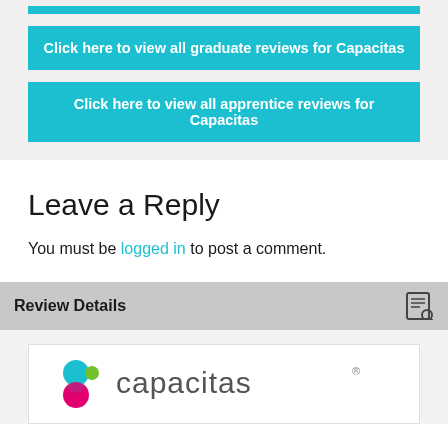Click here to view all graduate reviews for Capacitas
Click here to view all apprentice reviews for Capacitas
Leave a Reply
You must be logged in to post a comment.
Review Details
[Figure (logo): Capacitas company logo with coloured circular dots and grey text]